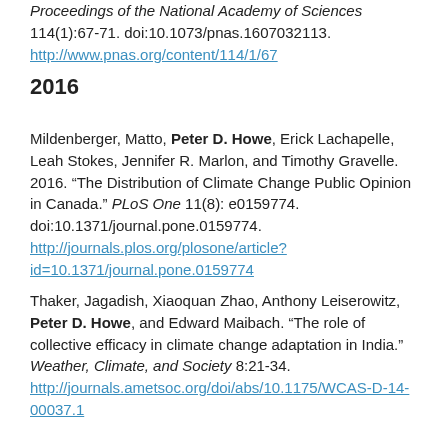Proceedings of the National Academy of Sciences 114(1):67-71. doi:10.1073/pnas.1607032113. http://www.pnas.org/content/114/1/67
2016
Mildenberger, Matto, Peter D. Howe, Erick Lachapelle, Leah Stokes, Jennifer R. Marlon, and Timothy Gravelle. 2016. “The Distribution of Climate Change Public Opinion in Canada.” PLoS One 11(8): e0159774. doi:10.1371/journal.pone.0159774. http://journals.plos.org/plosone/article?id=10.1371/journal.pone.0159774
Thaker, Jagadish, Xiaoquan Zhao, Anthony Leiserowitz, Peter D. Howe, and Edward Maibach. “The role of collective efficacy in climate change adaptation in India.” Weather, Climate, and Society 8:21-34. http://journals.ametsoc.org/doi/abs/10.1175/WCAS-D-14-00037.1